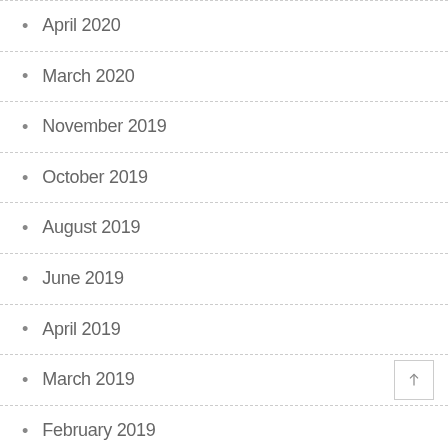April 2020
March 2020
November 2019
October 2019
August 2019
June 2019
April 2019
March 2019
February 2019